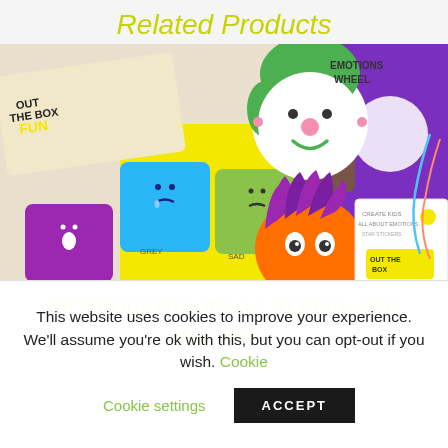Related Products
[Figure (photo): Colorful children's educational activity box products including emotion cards with illustrated faces, a box labeled 'Out the Box Fun', an emotions wheel, and illustrated characters showing emotions. Bright colors including yellow, blue, green, purple, and orange.]
All About Emotions Activity Box for Kids
This website uses cookies to improve your experience. We'll assume you're ok with this, but you can opt-out if you wish. Cookie settings ACCEPT